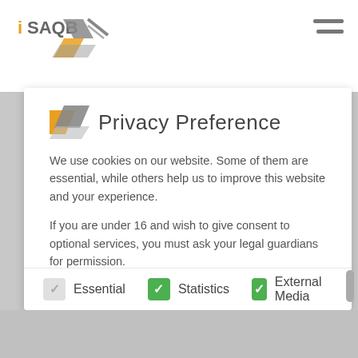[Figure (logo): iSAQB logo with orange and grey text and chevron graphic]
[Figure (other): Hamburger menu icon (two horizontal grey lines)]
Privacy Preference
We use cookies on our website. Some of them are essential, while others help us to improve this website and your experience.
If you are under 16 and wish to give consent to optional services, you must ask your legal guardians for permission.
We use cookies and other technologies on our website. Some of them are essential, while others help us to improve this website and your experience. Personal data may be processed (e.g. IP addresses), for example for personalized ads and content or ad and content
Essential
Statistics
External Media